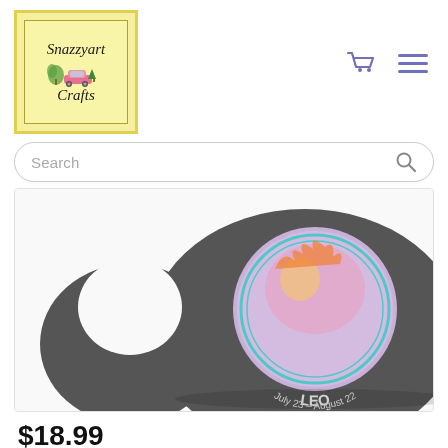[Figure (logo): Snazzyart Crafts logo: yellow/cream square with inner border, cursive text 'Snazzyart Crafts' with illustrated decorative elements including a pink vintage car and greenery]
[Figure (other): Navigation icons: shopping cart and hamburger menu in purple/violet color]
[Figure (other): Search bar with rounded pill shape border and magnifying glass icon]
[Figure (photo): Product photo showing a dark gray/charcoal colored coaster or plate with a circular Leo zodiac design in the center. The circle features colorful artwork and text reading 'LEO July 23 - August 22' in a cyan/teal arc around the bottom of the circle.]
$18.99